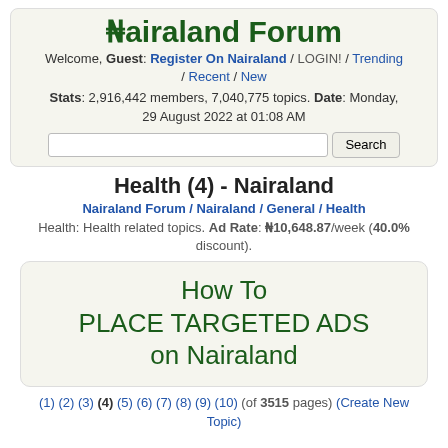₦airaland Forum
Welcome, Guest: Register On Nairaland / LOGIN! / Trending / Recent / New
Stats: 2,916,442 members, 7,040,775 topics. Date: Monday, 29 August 2022 at 01:08 AM
Health (4) - Nairaland
Nairaland Forum / Nairaland / General / Health
Health: Health related topics. Ad Rate: ₦10,648.87/week (40.0% discount).
[Figure (other): Advertisement box: How To PLACE TARGETED ADS on Nairaland]
(1) (2) (3) (4) (5) (6) (7) (8) (9) (10) (of 3515 pages) (Create New Topic)